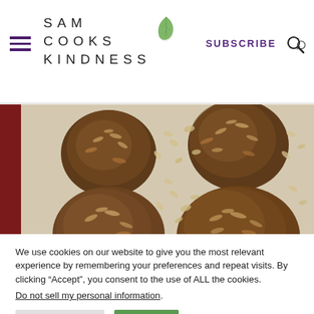SAM COOKS KINDNESS | SUBSCRIBE
[Figure (photo): Overhead view of oat-coated cookie/muffin balls on a light surface scattered with oats and seeds, with a dark red edge visible on the left]
We use cookies on our website to give you the most relevant experience by remembering your preferences and repeat visits. By clicking “Accept”, you consent to the use of ALL the cookies.
Do not sell my personal information.